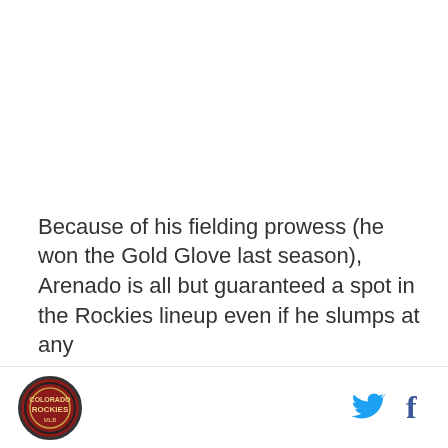Because of his fielding prowess (he won the Gold Glove last season), Arenado is all but guaranteed a spot in the Rockies lineup even if he slumps at any
[Figure (logo): Colorado Rockies circular logo in footer]